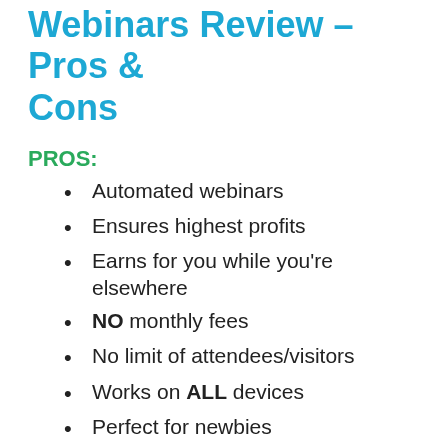Webinars Review – Pros & Cons
PROS:
Automated webinars
Ensures highest profits
Earns for you while you're elsewhere
NO monthly fees
No limit of attendees/visitors
Works on ALL devices
Perfect for newbies
CONS:
However for newbies recommended to...